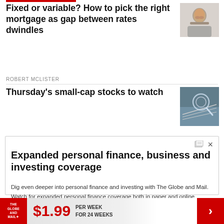Fixed or variable? How to pick the right mortgage as gap between rates dwindles
ROBERT MCLISTER
[Figure (photo): Headshot of a man with dark beard smiling]
Thursday's small-cap stocks to watch
[Figure (photo): Close-up photo of compass on financial charts]
REPORT ON BUSINESS
Expanded personal finance, business and investing coverage
Dig even deeper into personal finance and investing with The Globe and Mail. Watch for expanded personal finance coverage both in paper and online
THE GLOBE AND MAIL $1.99 PER WEEK FOR 24 WEEKS